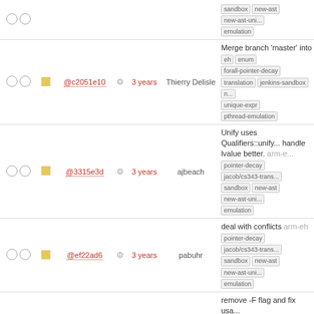| checks | sq | hash | icon | time | author | message |
| --- | --- | --- | --- | --- | --- | --- |
| OO |  | @c2051e10 | gear | 3 years | Thierry Delisle | Merge branch 'master' into... eh enum forall-pointer-decay translation jenkins-sandbox n... unique-expr pthread-emulation |
| OO |  | @3315e3d | gear | 3 years | ajbeach | Unify uses Qualifiers::unify... handle lvalue better. arm-e... pointer-decay jacob/cs343-trans... sandbox new-ast new-ast-uni... emulation |
| OO |  | @ef22ad6 | gear | 3 years | pabuhr | deal with conflicts arm-eh pointer-decay jacob/cs343-trans... sandbox new-ast new-ast-uni... emulation |
| OO |  | @e0bd0f9 | gear | 3 years | pabuhr | remove -F flag and fix usa... arm-eh enum forall-pointer-... decay jacob/cs343-translation sandbox new-ast new-ast-uni... emulation |
| OO |  | @5d00425 | gear | 3 years | ajbeach | StmtExpr? also does not ha... originally expected. arm-eh pointer-decay jacob/cs343-trans... sandbox new-ast new-ast-uni... emulation |
| OO |  | @6c4a473 | gear | 3 years | Thierry Delisle | Merge branch 'master' into... eh enum forall-pointer-decay translation jenkins-sandbox n... unique-expr pthread-emulation |
| OO |  | @d65f92c | gear | 3 years | Thierry Delisle | Tests almost work, the onl... using -E and -CFA togethe... eh enum forall-pointer-decay translation jenkins-sandbox |